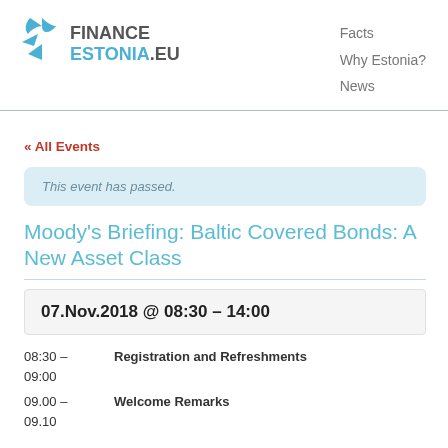FINANCE ESTONIA.EU | Facts | Why Estonia? | News
« All Events
This event has passed.
Moody's Briefing: Baltic Covered Bonds: A New Asset Class
07.Nov.2018 @ 08:30 – 14:00
08:30 – 09:00    Registration and Refreshments
09.00 – 09.10    Welcome Remarks